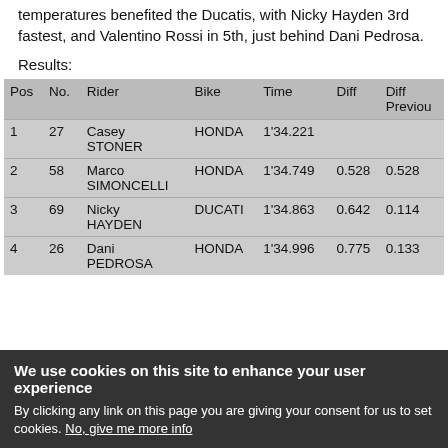temperatures benefited the Ducatis, with Nicky Hayden 3rd fastest, and Valentino Rossi in 5th, just behind Dani Pedrosa.
Results:
| Pos | No. | Rider | Bike | Time | Diff | Diff Previous |
| --- | --- | --- | --- | --- | --- | --- |
| 1 | 27 | Casey STONER | HONDA | 1'34.221 |  |  |
| 2 | 58 | Marco SIMONCELLI | HONDA | 1'34.749 | 0.528 | 0.528 |
| 3 | 69 | Nicky HAYDEN | DUCATI | 1'34.863 | 0.642 | 0.114 |
| 4 | 26 | Dani PEDROSA | HONDA | 1'34.996 | 0.775 | 0.133 |
We use cookies on this site to enhance your user experience
By clicking any link on this page you are giving your consent for us to set cookies. No, give me more info